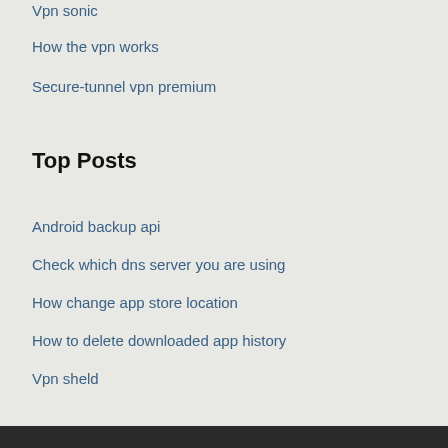Vpn sonic
How the vpn works
Secure-tunnel vpn premium
Top Posts
Android backup api
Check which dns server you are using
How change app store location
How to delete downloaded app history
Vpn sheld